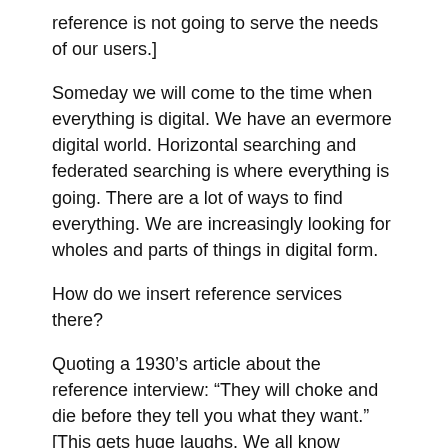reference is not going to serve the needs of our users.]
Someday we will come to the time when everything is digital. We have an evermore digital world. Horizontal searching and federated searching is where everything is going. There are a lot of ways to find everything. We are increasingly looking for wholes and parts of things in digital form.
How do we insert reference services there?
Quoting a 1930’s article about the reference interview: “They will choke and die before they tell you what they want.” [This gets huge laughs. We all know exactly what this librarian is talking about.]
We can take on Wikipedia. If you are griping about Wikipedia and you are not editing it, you have no right. [Amen. If I hear one more professor or librarian harp